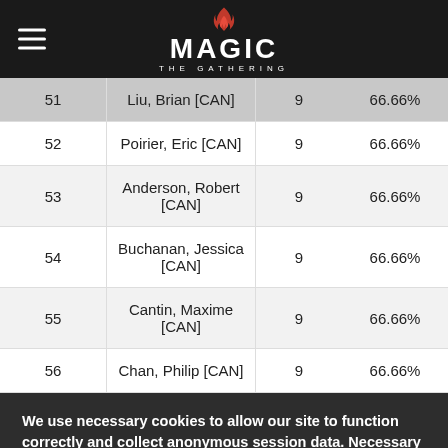Magic: The Gathering
| Rank | Name | Points | OMW% |
| --- | --- | --- | --- |
| 51 | Liu, Brian [CAN] | 9 | 66.66% |
| 52 | Poirier, Eric [CAN] | 9 | 66.66% |
| 53 | Anderson, Robert [CAN] | 9 | 66.66% |
| 54 | Buchanan, Jessica [CAN] | 9 | 66.66% |
| 55 | Cantin, Maxime [CAN] | 9 | 66.66% |
| 56 | Chan, Philip [CAN] | 9 | 66.66% |
We use necessary cookies to allow our site to function correctly and collect anonymous session data. Necessary cookies can be opted out through your browser settings. We also use optional cookies to personalize content and ads, provide social medial features and analyze web traffic. By clicking “OK, I agree,” you consent to optional cookies. (Learn more about cookies.)